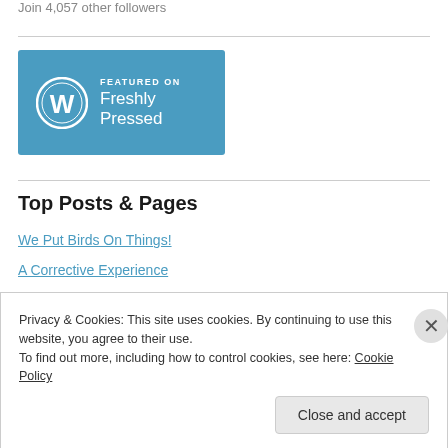Join 4,057 other followers
[Figure (logo): WordPress 'Featured on Freshly Pressed' badge with blue background and WordPress logo]
Top Posts & Pages
We Put Birds On Things!
A Corrective Experience
My Little Yeah Man
The Last Day
Privacy & Cookies: This site uses cookies. By continuing to use this website, you agree to their use.
To find out more, including how to control cookies, see here: Cookie Policy
Close and accept